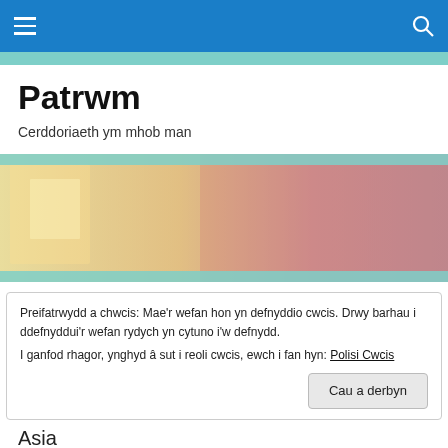Navigation bar with hamburger menu and search icon
Patrwm
Cerddoriaeth ym mhob man
[Figure (photo): Hero banner image with abstract warm tones — yellows, oranges, pinks — overlaying a teal-bordered strip, suggesting a music venue or artistic space.]
Preifatrwydd a chwcis: Mae'r wefan hon yn defnyddio cwcis. Drwy barhau i ddefnyddui'r wefan rydych yn cytuno i'w defnydd.
I ganfod rhagor, ynghyd â sut i reoli cwcis, ewch i fan hyn: Polisi Cwcis
Cau a derbyn
Asia